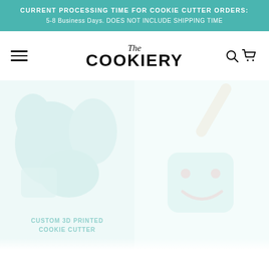CURRENT PROCESSING TIME FOR COOKIE CUTTER ORDERS:
5-8 Business Days. DOES NOT INCLUDE SHIPPING TIME
The COOKIERY
[Figure (screenshot): Two faded product images: left shows cookie cutters with text 'CUSTOM 3D PRINTED COOKIE CUTTER', right shows a smiley face cookie cutter shape]
CUSTOM 3D PRINTED
COOKIE CUTTER